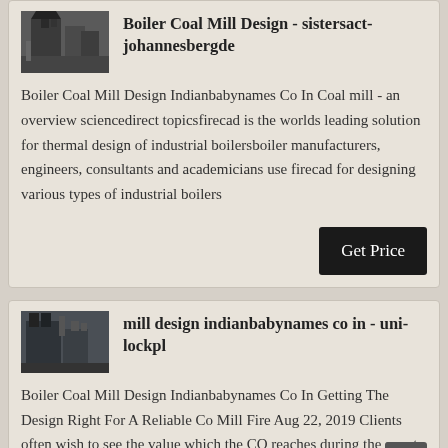[Figure (photo): Industrial boiler or coal mill equipment, dark machinery image]
Boiler Coal Mill Design - sistersact-johannesbergde
Boiler Coal Mill Design Indianbabynames Co In Coal mill - an overview sciencedirect topicsfirecad is the worlds leading solution for thermal design of industrial boilersboiler manufacturers, engineers, consultants and academicians use firecad for designing various types of industrial boilers
[Figure (photo): Industrial dust collector or coal mill structure, dark industrial building]
mill design indianbabynames co in - uni-lockpl
Boiler Coal Mill Design Indianbabynames Co In Getting The Design Right For A Reliable Co Mill Fire Aug 22, 2019 Clients often wish to see the value which the CO reaches during the event, not just the fact that it has occurred